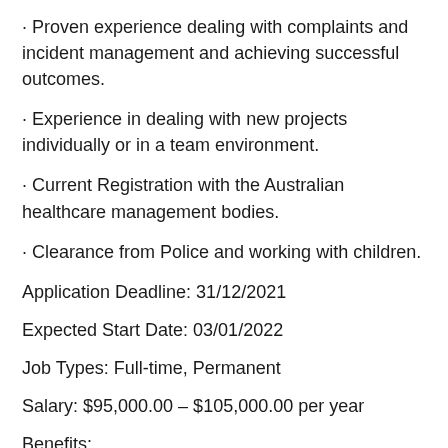· Proven experience dealing with complaints and incident management and achieving successful outcomes.
· Experience in dealing with new projects individually or in a team environment.
· Current Registration with the Australian healthcare management bodies.
· Clearance from Police and working with children.
Application Deadline: 31/12/2021
Expected Start Date: 03/01/2022
Job Types: Full-time, Permanent
Salary: $95,000.00 – $105,000.00 per year
Benefits:
Travel reimbursement
Schedule: